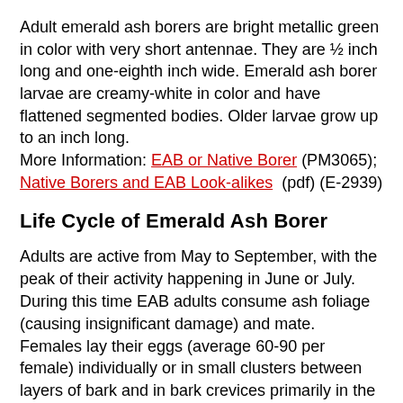Adult emerald ash borers are bright metallic green in color with very short antennae. They are ½ inch long and one-eighth inch wide. Emerald ash borer larvae are creamy-white in color and have flattened segmented bodies. Older larvae grow up to an inch long.
More Information: EAB or Native Borer (PM3065); Native Borers and EAB Look-alikes (pdf) (E-2939)
Life Cycle of Emerald Ash Borer
Adults are active from May to September, with the peak of their activity happening in June or July.  During this time EAB adults consume ash foliage (causing insignificant damage) and mate.  Females lay their eggs (average 60-90 per female) individually or in small clusters between layers of bark and in bark crevices primarily in the trunk and major branches. Tiny white larvae hatch in about one week and burrow directly from the egg through the outer bark to the cambium layer where they feed for approximately one to...